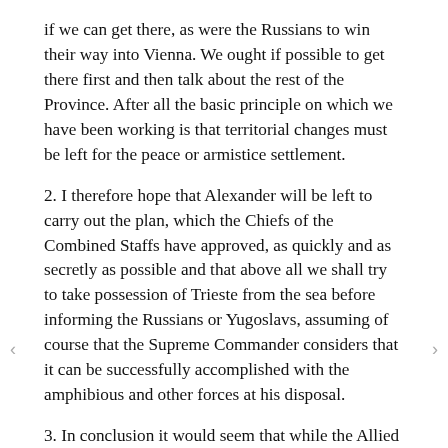if we can get there, as were the Russians to win their way into Vienna. We ought if possible to get there first and then talk about the rest of the Province. After all the basic principle on which we have been working is that territorial changes must be left for the peace or armistice settlement.
2. I therefore hope that Alexander will be left to carry out the plan, which the Chiefs of the Combined Staffs have approved, as quickly and as secretly as possible and that above all we shall try to take possession of Trieste from the sea before informing the Russians or Yugoslavs, assuming of course that the Supreme Commander considers that it can be successfully accomplished with the amphibious and other forces at his disposal.
3. In conclusion it would seem that while the Allied forces will arrive in Trieste as liberators laying no claim to territorial gains, the Yugoslavs will arrive as conquerors laying their hands on territory which they vehemently covet. It has seemed to me, in view of the United States friendly sentiments towards Italy, some defence of Italian rights at the head the Adriatic might be the means of harmonious combination...